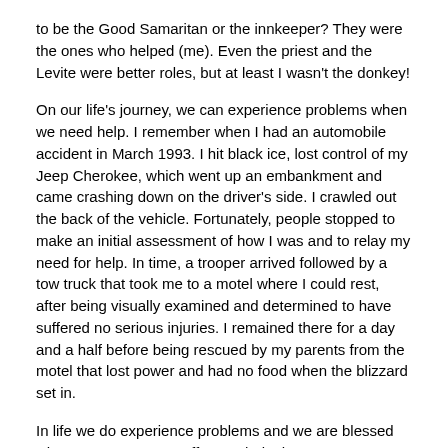to be the Good Samaritan or the innkeeper? They were the ones who helped (me). Even the priest and the Levite were better roles, but at least I wasn't the donkey!
On our life's journey, we can experience problems when we need help. I remember when I had an automobile accident in March 1993. I hit black ice, lost control of my Jeep Cherokee, which went up an embankment and came crashing down on the driver's side. I crawled out the back of the vehicle. Fortunately, people stopped to make an initial assessment of how I was and to relay my need for help. In time, a trooper arrived followed by a tow truck that took me to a motel where I could rest, after being visually examined and determined to have suffered no serious injuries. I remained there for a day and a half before being rescued by my parents from the motel that lost power and had no food when the blizzard set in.
In life we do experience problems and we are blessed when persons stop to offer any help they can. Just as we have many opportunities to be Good Samaritans, let us not forget that sooner or later all of us will find ourselves in the need of help. Our help is in the name of the Lord who made heaven and earth, but we are also blessed when others reach out to help us in our times of need.